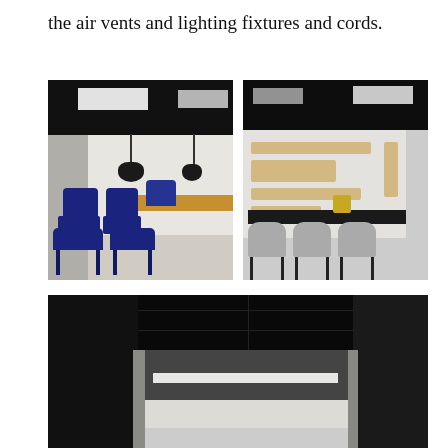the air vents and lighting fixtures and cords.
[Figure (photo): Interior photo of a meeting room with blue chairs around a wooden table, black pendant lights hanging from a dark ceiling, concrete pillar on the left, white walls.]
[Figure (photo): Interior rendering of a minimalist meeting room with grey chairs around a dark table, wooden acoustic panels on the white wall, black grid ceiling with recessed lighting.]
[Figure (photo): Interior photo of a dark industrial space with a brightly lit inner room visible through an opening, dark ceiling with exposed structure, concrete columns.]